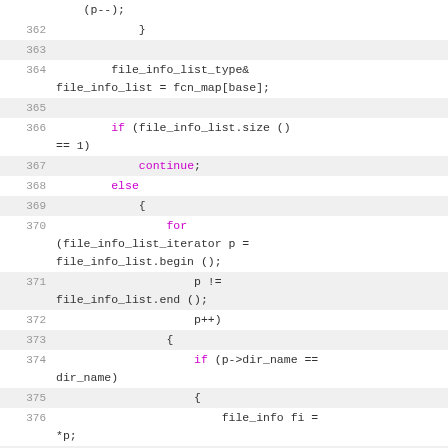Code listing lines 362-381, C++ source code showing file_info_list operations including iteration, erase, and push_back with control flow keywords (if, else, for, continue).